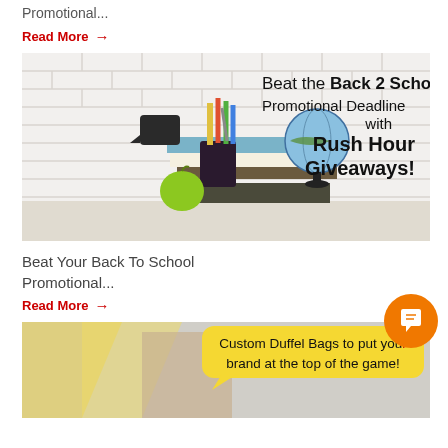Promotional...
Read More →
[Figure (photo): Back to school promotional image with school supplies, globe on stacked books, green apple, with text overlay: Beat the Back 2 School Promotional Deadline with Rush Hour Giveaways!]
Beat Your Back To School Promotional...
Read More →
[Figure (photo): Custom Duffel Bags promotional image with person wearing a yellow bag, text overlay: Custom Duffel Bags to put your brand at the top of the game!]